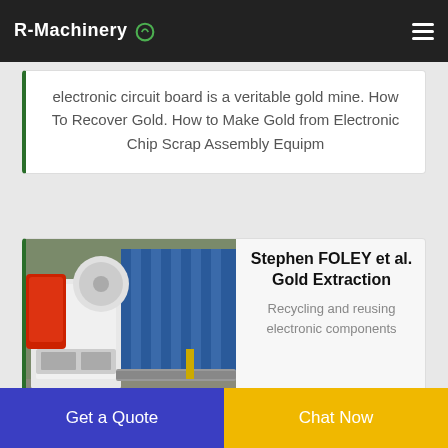R-Machinery
electronic circuit board is a veritable gold mine. How To Recover Gold. How to Make Gold from Electronic Chip Scrap Assembly Equipm
[Figure (photo): Industrial machinery/equipment in a warehouse setting with white and red machine components.]
Stephen FOLEY et al. Gold Extraction
Recycling and reusing electronic components
Get a Quote
Chat Now